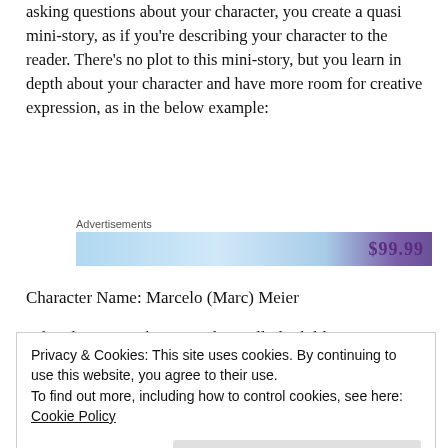asking questions about your character, you create a quasi mini-story, as if you're describing your character to the reader. There's no plot to this mini-story, but you learn in depth about your character and have more room for creative expression, as in the below example:
[Figure (other): Advertisement banner with blue gradient background and price text showing $99.99]
Character Name: Marcelo (Marc) Meier
What does your character physically look like?
Privacy & Cookies: This site uses cookies. By continuing to use this website, you agree to their use. To find out more, including how to control cookies, see here: Cookie Policy
want to be called a wuss and get rat tailed. By the time